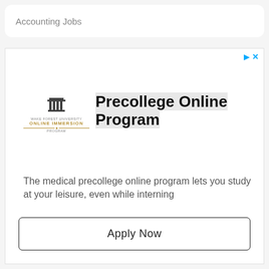Accounting Jobs
[Figure (screenshot): Advertisement for Wake Forest University Online Immersion Program — Precollege Online Program]
Precollege Online Program
The medical precollege online program lets you study at your leisure, even while interning
Wake Forest University
Apply Now